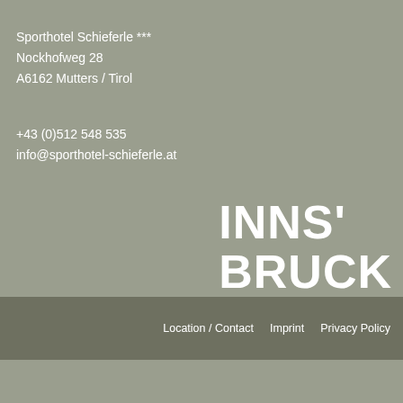Sporthotel Schieferle ***
Nockhofweg 28
A6162 Mutters / Tirol
+43 (0)512 548 535
info@sporthotel-schieferle.at
[Figure (logo): INNS' BRUCK logo in bold white text on grey background]
Location / Contact   Imprint   Privacy Policy